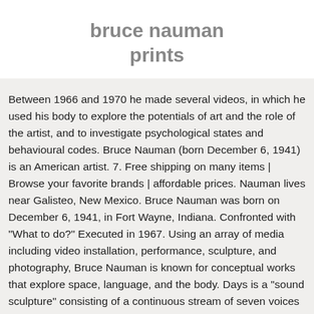bruce nauman prints
Between 1966 and 1970 he made several videos, in which he used his body to explore the potentials of art and the role of the artist, and to investigate psychological states and behavioural codes. Bruce Nauman (born December 6, 1941) is an American artist. 7. Free shipping on many items | Browse your favorite brands | affordable prices. Nauman lives near Galisteo, New Mexico. Bruce Nauman was born on December 6, 1941, in Fort Wayne, Indiana. Confronted with "What to do?" Executed in 1967. Using an array of media including video installation, performance, sculpture, and photography, Bruce Nauman is known for conceptual works that explore space, language, and the body. Days is a "sound sculpture" consisting of a continuous stream of seven voices reciting the days of the week in random order. Bruce Nauman (born December 6, 1941) is an American artist. Bruce Nauman exhibitions have visited...